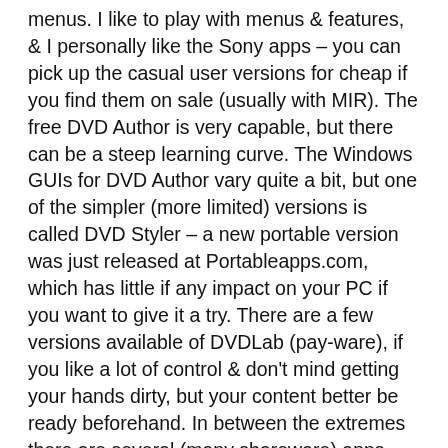menus. I like to play with menus & features, & I personally like the Sony apps – you can pick up the casual user versions for cheap if you find them on sale (usually with MIR). The free DVD Author is very capable, but there can be a steep learning curve. The Windows GUIs for DVD Author vary quite a bit, but one of the simpler (more limited) versions is called DVD Styler – a new portable version was just released at Portableapps.com, which has little if any impact on your PC if you want to give it a try. There are a few versions available of DVDLab (pay-ware), if you like a lot of control & don't mind getting your hands dirty, but your content better be ready beforehand. In between the extremes there are several (many shareware) apps you can also check out at videohelp.com – many are popular, make a great compromise with a lot of flexibility, accepting a lot of formats, but the DVDs they produce sometimes (but not often) have problems. Same with the entry level DVD software from Sonic – easy to use with a reasonable amount of features, but I wouldn't use it for home DVDs I intended to pass out to relatives – I don't want even the slightest chance someone's player might have problems, since I don't